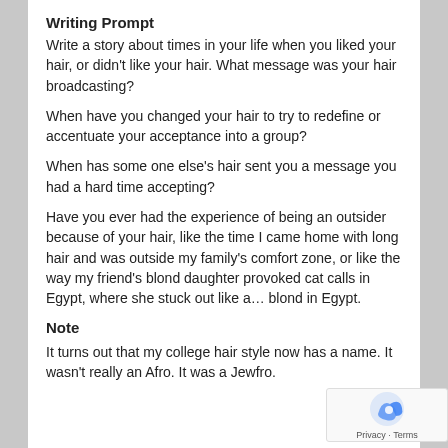Writing Prompt
Write a story about times in your life when you liked your hair, or didn't like your hair. What message was your hair broadcasting?
When have you changed your hair to try to redefine or accentuate your acceptance into a group?
When has some one else's hair sent you a message you had a hard time accepting?
Have you ever had the experience of being an outsider because of your hair, like the time I came home with long hair and was outside my family's comfort zone, or like the way my friend's blond daughter provoked cat calls in Egypt, where she stuck out like a… blond in Egypt.
Note
It turns out that my college hair style now has a name. It wasn't really an Afro. It was a Jewfro.